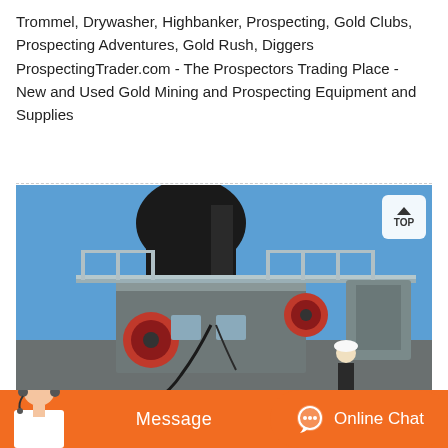Trommel, Drywasher, Highbanker, Prospecting, Gold Clubs, Prospecting Adventures, Gold Rush, Diggers ProspectingTrader.com - The Prospectors Trading Place - New and Used Gold Mining and Prospecting Equipment and Supplies
[Figure (photo): Outdoor industrial/mining equipment photo showing a large crusher or processing machine with metal gantry/walkway structure, blue sky background, a worker in white hard hat visible at lower right]